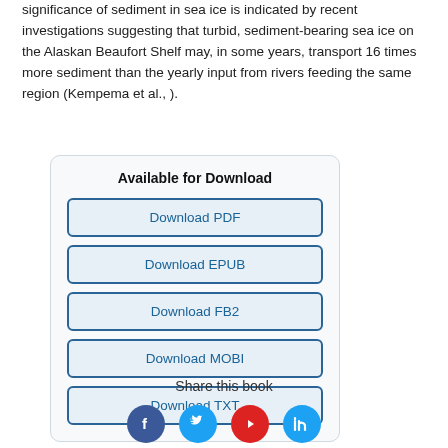significance of sediment in sea ice is indicated by recent investigations suggesting that turbid, sediment-bearing sea ice on the Alaskan Beaufort Shelf may, in some years, transport 16 times more sediment than the yearly input from rivers feeding the same region (Kempema et al., ).
[Figure (infographic): Download box with title 'Available for Download' and five buttons: Download PDF, Download EPUB, Download FB2, Download MOBI, Download TXT]
Share this book
[Figure (infographic): Four social media icon circles: Facebook (blue), Twitter (light blue), YouTube (red), another (light blue)]